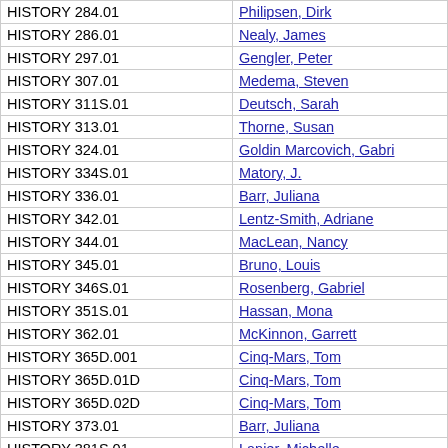| Course | Instructor |
| --- | --- |
| HISTORY 284.01 | Philipsen, Dirk |
| HISTORY 286.01 | Nealy, James |
| HISTORY 297.01 | Gengler, Peter |
| HISTORY 307.01 | Medema, Steven |
| HISTORY 311S.01 | Deutsch, Sarah |
| HISTORY 313.01 | Thorne, Susan |
| HISTORY 324.01 | Goldin Marcovich, Gabri |
| HISTORY 334S.01 | Matory, J. |
| HISTORY 336.01 | Barr, Juliana |
| HISTORY 342.01 | Lentz-Smith, Adriane |
| HISTORY 344.01 | MacLean, Nancy |
| HISTORY 345.01 | Bruno, Louis |
| HISTORY 346S.01 | Rosenberg, Gabriel |
| HISTORY 351S.01 | Hassan, Mona |
| HISTORY 362.01 | McKinnon, Garrett |
| HISTORY 365D.001 | Cinq-Mars, Tom |
| HISTORY 365D.01D | Cinq-Mars, Tom |
| HISTORY 365D.02D | Cinq-Mars, Tom |
| HISTORY 373.01 | Barr, Juliana |
| HISTORY 381S.01 | Lanier, Michelle |
| HISTORY 382S.01 | Szabo, Victoria |
| HISTORY 383.01 | Mestyan, Adam |